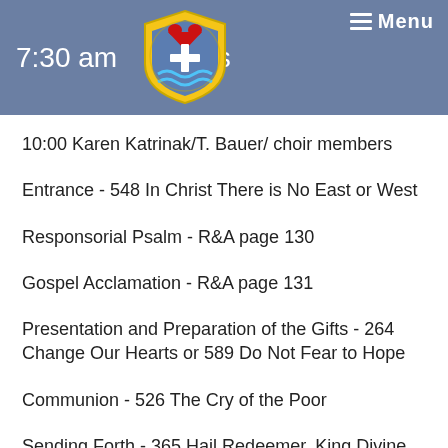7:30 am Mass
10:00 Karen Katrinak/T. Bauer/ choir members
Entrance - 548 In Christ There is No East or West
Responsorial Psalm - R&A page 130
Gospel Acclamation - R&A page 131
Presentation and Preparation of the Gifts - 264 Change Our Hearts or 589 Do Not Fear to Hope
Communion - 526 The Cry of the Poor
Sending Forth - 365 Hail Redeemer, King Divine